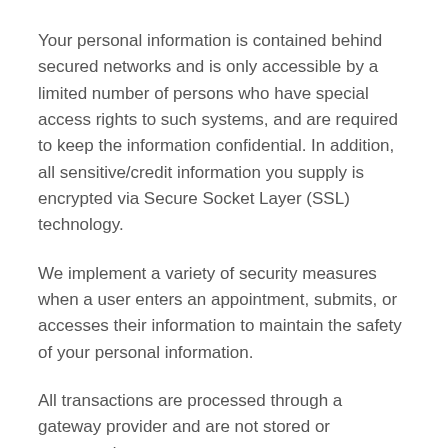Your personal information is contained behind secured networks and is only accessible by a limited number of persons who have special access rights to such systems, and are required to keep the information confidential. In addition, all sensitive/credit information you supply is encrypted via Secure Socket Layer (SSL) technology.
We implement a variety of security measures when a user enters an appointment, submits, or accesses their information to maintain the safety of your personal information.
All transactions are processed through a gateway provider and are not stored or processed on our servers.
Do we use ‘cookies’?
We do not use cookies for tracking purposes.